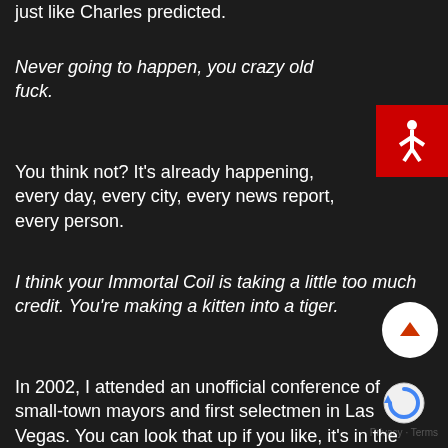just like Charles predicted.
Never going to happen, you crazy old fuck.
You think not? It's already happening, every day, every city, every news report, every person.
I think your Immortal Coil is taking a little too much credit. You're making a kitten into a tiger.
In 2002, I attended an unofficial conference of small-town mayors and first selectmen in Las Vegas. You can look that up if you like, it's in the town records. Quite an affair I must say. All